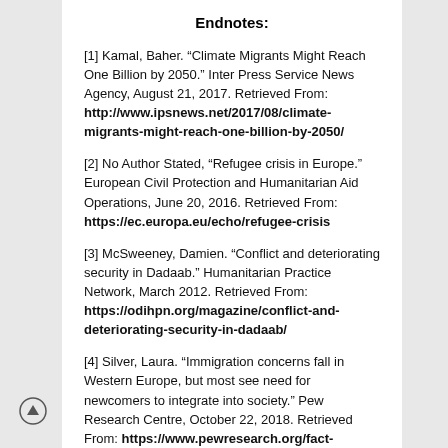Endnotes:
[1] Kamal, Baher. “Climate Migrants Might Reach One Billion by 2050.” Inter Press Service News Agency, August 21, 2017. Retrieved From: http://www.ipsnews.net/2017/08/climate-migrants-might-reach-one-billion-by-2050/
[2] No Author Stated, “Refugee crisis in Europe.” European Civil Protection and Humanitarian Aid Operations, June 20, 2016. Retrieved From: https://ec.europa.eu/echo/refugee-crisis
[3] McSweeney, Damien. “Conflict and deteriorating security in Dadaab.” Humanitarian Practice Network, March 2012. Retrieved From: https://odihpn.org/magazine/conflict-and-deteriorating-security-in-dadaab/
[4] Silver, Laura. “Immigration concerns fall in Western Europe, but most see need for newcomers to integrate into society.” Pew Research Centre, October 22, 2018. Retrieved From: https://www.pewresearch.org/fact-tank/2018/10/22/immigration-concerns-fall-in-western-